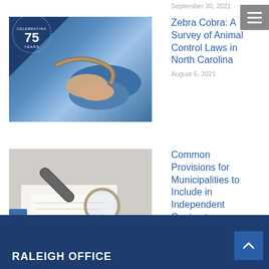September 30, 2021
[Figure (photo): Photo of hands holding a snake, with a blue background and a '75 Years Celebrating' badge overlay]
Zebra Cobra: A Survey of Animal Control Laws in North Carolina
August 6, 2021
[Figure (photo): Photo of a person examining a document with a magnifying glass at a desk]
Common Provisions for Municipalities to Include in Independent Contractor Agreements
July 14, 2021
RALEIGH OFFICE